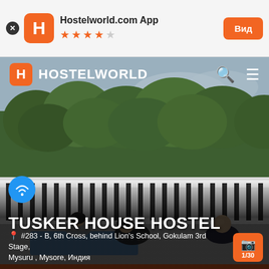[Figure (screenshot): Hostelworld.com App banner with H logo, 4.5 star rating, and Вид button]
[Figure (photo): Hostelworld website screenshot showing Tusker House Hostel page with photo of rooftop yoga session, outdoor scene with trees, white balcony railing, people doing yoga]
TUSKER HOUSE HOSTEL
#283 - B, 6th Cross, behind Lion's School, Gokulam 3rd Stage, Mysuru , Mysore, Индия